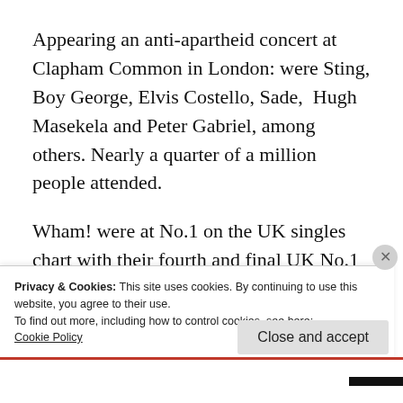Appearing an anti-apartheid concert at Clapham Common in London: were Sting, Boy George, Elvis Costello, Sade, Hugh Masekela and Peter Gabriel, among others. Nearly a quarter of a million people attended.
Wham! were at No.1 on the UK singles chart with their fourth and final UK No.1 ‘The Edge Of Heaven’. Also on this day Wham! played their farewell concert in front of 80,000 fans at Wembley Stadium, London
Privacy & Cookies: This site uses cookies. By continuing to use this website, you agree to their use.
To find out more, including how to control cookies, see here:
Cookie Policy
Close and accept